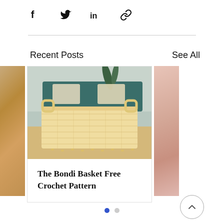[Figure (other): Social share icons: Facebook (f), Twitter (bird), LinkedIn (in), and link/chain icon]
Recent Posts
See All
[Figure (photo): A rectangular woven crochet basket with handles on a wooden surface, with a couch and plant in the background. Partially visible photos flank the main card on both sides.]
The Bondi Basket Free Crochet Pattern